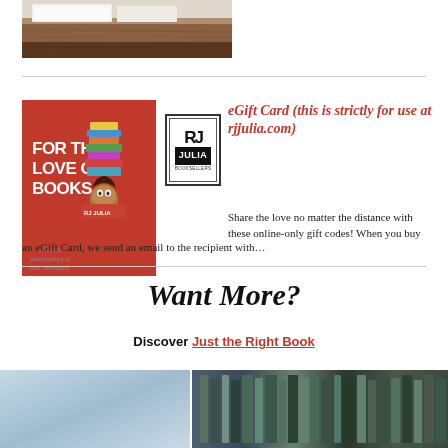[Figure (photo): Top cropped photo of white papers or books on a wooden surface]
[Figure (photo): eGift Card product image showing 'FOR THE LOVE OF BOOKS' artwork on red background with RJ Julia bookstore logo]
eGift Card (this is strictly for use at rjjulia.com)
Share the love no matter the distance with these online-only gift codes! When you buy an eGift Card, we send an email to the recipient with…
Want More?
Discover Just the Right Book
[Figure (photo): Bottom partial images — light blue/teal image on left and dark bookshelf image on right]